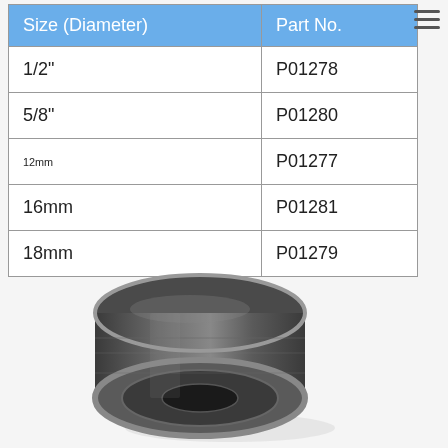| Size (Diameter) | Part No. |
| --- | --- |
| 1/2" | P01278 |
| 5/8" | P01280 |
| 12mm | P01277 |
| 16mm | P01281 |
| 18mm | P01279 |
[Figure (photo): A metallic machined circular/ring-shaped component (appears to be a bearing or bushing) with a central hole, viewed from a slight angle, showing machined grooves and a dark metallic finish.]